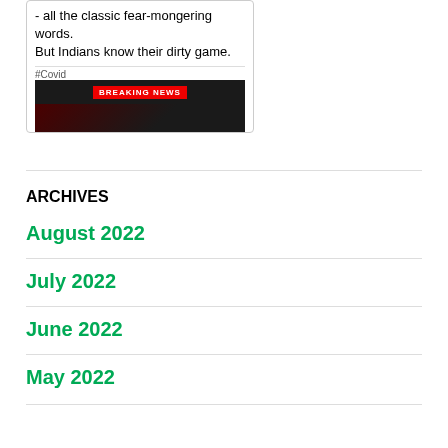[Figure (screenshot): Tweet screenshot showing text about fear-mongering words and Indians knowing their dirty game, with a #Covid hashtag and a Breaking News image below]
ARCHIVES
August 2022
July 2022
June 2022
May 2022